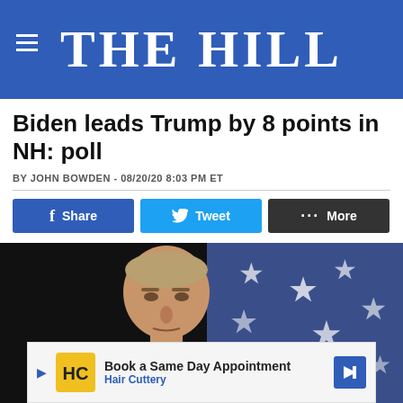[Figure (logo): The Hill news website logo — white serif text 'THE HILL' on blue background with hamburger menu icon]
Biden leads Trump by 8 points in NH: poll
BY JOHN BOWDEN - 08/20/20 8:03 PM ET
[Figure (photo): Photo of Joe Biden in front of an American flag with stars, dark background]
[Figure (other): Advertisement banner: Book a Same Day Appointment - Hair Cuttery]